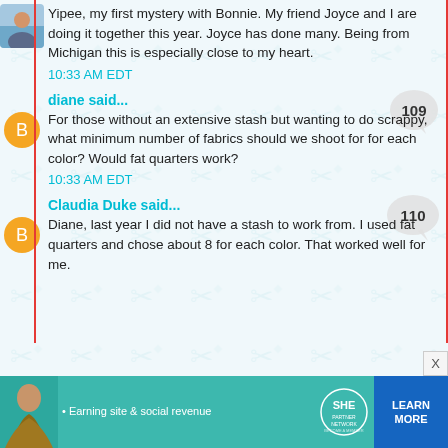Yipee, my first mystery with Bonnie. My friend Joyce and I are doing it together this year. Joyce has done many. Being from Michigan this is especially close to my heart.
10:33 AM EDT
diane said...
For those without an extensive stash but wanting to do scrappy, what minimum number of fabrics should we shoot for for each color? Would fat quarters work?
10:33 AM EDT
Claudia Duke said...
Diane, last year I did not have a stash to work from. I used fat quarters and chose about 8 for each color. That worked well for me.
[Figure (infographic): SHE Partner Network advertisement banner: Earning site & social revenue. Learn More button. Become a member.]